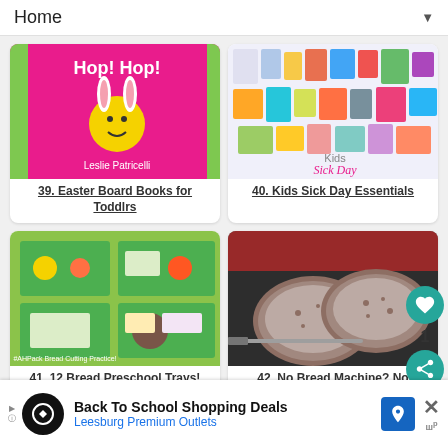Home ▼
[Figure (photo): Book cover: Hop! Hop! by Leslie Patricelli — pink background with cartoon bunny character]
39. Easter Board Books for Toddlrs
[Figure (photo): Kids Sick Day Essentials — collage of various children's products, medicines, drinks]
40. Kids Sick Day Essentials
[Figure (photo): 12 Bread Preschool Trays activity — green tray with various bread-themed learning materials]
41. 12 Bread Preschool Trays!
[Figure (photo): No Bread Machine? No Problem! — photo of sliced whole grain bread on a cutting board]
42. No Bread Machine? No Problem! Making it
Back To School Shopping Deals
Leesburg Premium Outlets